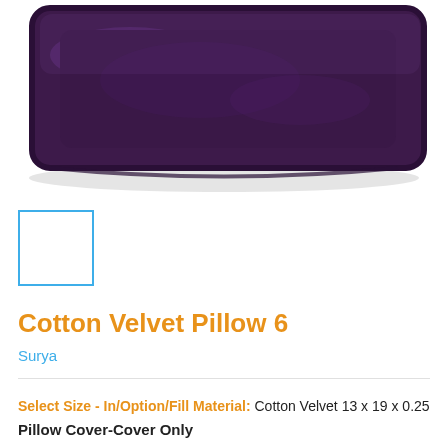[Figure (photo): Purple velvet rectangular pillow photographed from above on a white background, showing the top half of the product.]
[Figure (other): Small thumbnail selector box with blue border, showing a white/empty swatch, selected state indicated by the blue border.]
Cotton Velvet Pillow 6
Surya
Select Size - In/Option/Fill Material: Cotton Velvet 13 x 19 x 0.25
Pillow Cover-Cover Only
Cotton Velvet 13 x 19 x 0.25 Pillow Cover-Cover Only